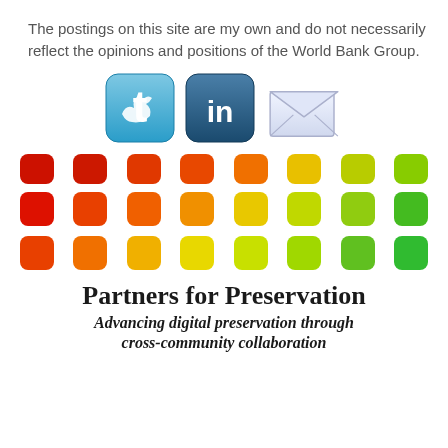The postings on this site are my own and do not necessarily reflect the opinions and positions of the World Bank Group.
[Figure (illustration): Three social media icons: Twitter (blue rounded square with bird), LinkedIn (dark blue rounded square with 'in'), and Email (envelope icon)]
[Figure (illustration): Three rows of colored rounded squares transitioning from red/orange on the left to yellow-green/green on the right, creating a spectrum gradient pattern]
Partners for Preservation
Advancing digital preservation through cross-community collaboration